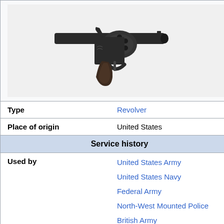[Figure (photo): A Colt revolver handgun with dark wood grip, photographed against a white background]
| Type | Revolver |
| Place of origin | United States |
| Service history |  |
| Used by | United States Army
United States Navy
Federal Army
North-West Mounted Police
British Army |
| Wars | Spanish–American War
Philippine–American War
Second Boer War
Boxer Rebellion |